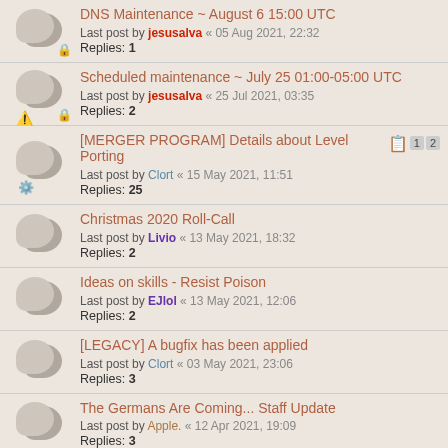DNS Maintenance ~ August 6 15:00 UTC
Last post by jesusalva « 05 Aug 2021, 22:32
Replies: 1
Scheduled maintenance ~ July 25 01:00-05:00 UTC
Last post by jesusalva « 25 Jul 2021, 03:35
Replies: 2
[MERGER PROGRAM] Details about Level Porting
Last post by Clort « 15 May 2021, 11:51
Replies: 25
Pages: 1 2
Christmas 2020 Roll-Call
Last post by Livio « 13 May 2021, 18:32
Replies: 2
Ideas on skills - Resist Poison
Last post by EJlol « 13 May 2021, 12:06
Replies: 2
[LEGACY] A bugfix has been applied
Last post by Clort « 03 May 2021, 23:06
Replies: 3
The Germans Are Coming... Staff Update
Last post by Apple. « 12 Apr 2021, 19:09
Replies: 3
Valentine Day 2021